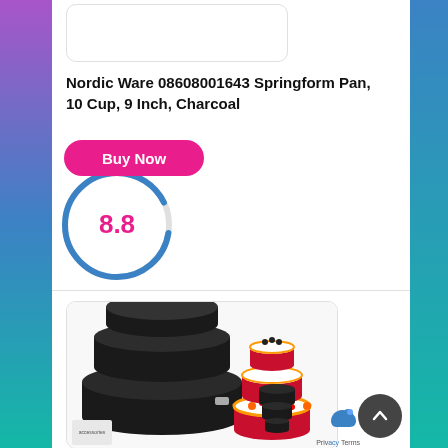[Figure (photo): Product image placeholder box (white rectangle with rounded corners)]
Nordic Ware 08608001643 Springform Pan, 10 Cup, 9 Inch, Charcoal
[Figure (other): Pink 'Buy Now' button with blue circular score ring showing 8.8 in pink text]
[Figure (photo): Product listing image showing black springform pans set with a three-tier fruit cake and individual pans]